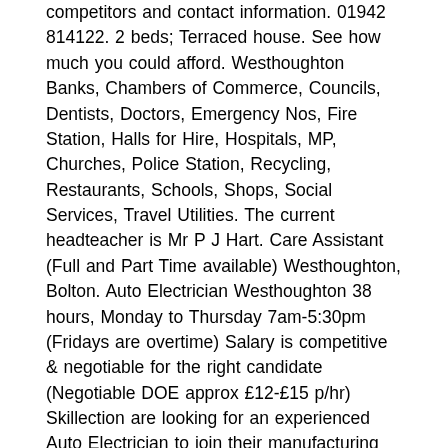competitors and contact information. 01942 814122. 2 beds; Terraced house. See how much you could afford. Westhoughton Banks, Chambers of Commerce, Councils, Dentists, Doctors, Emergency Nos, Fire Station, Halls for Hire, Hospitals, MP, Churches, Police Station, Recycling, Restaurants, Schools, Shops, Social Services, Travel Utilities. The current headteacher is Mr P J Hart. Care Assistant (Full and Part Time available) Westhoughton, Bolton. Auto Electrician Westhoughton 38 hours, Monday to Thursday 7am-5:30pm (Fridays are overtime) Salary is competitive & negotiable for the right candidate (Negotiable DOE approx £12-£15 p/hr) Skillection are looking for an experienced Auto Electrician to join their manufacturing client based in Westhoughton Bolton. Latest OFSTED Inspection. Westhoughton High School is located at Bolton Rd, Westhoughton, Bolton BL5 3DN, UK. DfE Code: 350/4031. Listed on 2022-05-09. Westhoughton High School | 33 followers on LinkedIn. Westhoughton High School, Bolton, Bolton Road (Restaurants and businesses near)